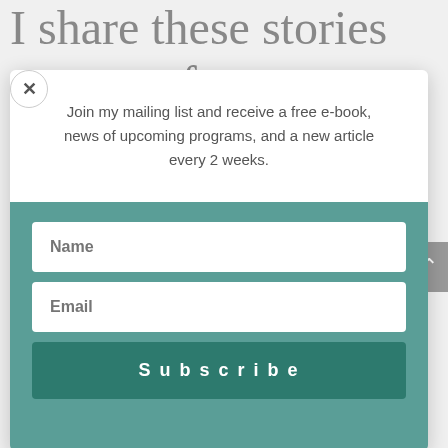I share these stories not out of arrogance, but out of humility. I am humbled that I have been chosen to...
[Figure (screenshot): Modal popup with close button (×), mailing list invitation text, Name and Email input fields, and Subscribe button on teal background]
Join my mailing list and receive a free e-book, news of upcoming programs, and a new article every 2 weeks.